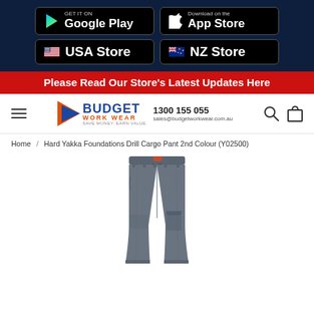[Figure (screenshot): App store download buttons for Google Play and Apple App Store, plus USA Store and NZ Store regional buttons on dark navy background]
Please Read Our Store's Latest Updates Here
[Figure (logo): Budget Work Wear logo with tagline SAVE MONEY. EARN VALUE., phone number 1300 155 055, email sales@budgetworkwear.com.au, search and cart icons]
Home / Hard Yakka Foundations Drill Cargo Pant 2nd Colour (Y02500)
[Figure (photo): Hard Yakka Foundations Drill Cargo Pant in grey/charcoal colour, showing the full pant with cargo pocket on the right leg]